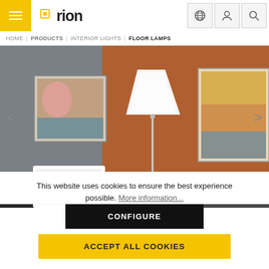orion — HOME | PRODUCTS | INTERIOR LIGHTS | FLOOR LAMPS
[Figure (photo): A white floor lamp with a tapered white shade on a thin metal stand, displayed in a room with gray and brown walls, a black sofa with a white cushion, and two framed artworks on the walls.]
This website uses cookies to ensure the best experience possible. More information...
CONFIGURE
ACCEPT ALL COOKIES